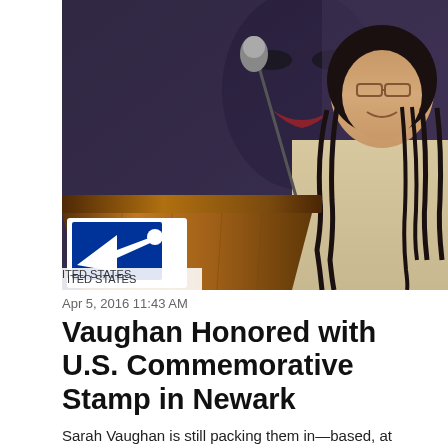[Figure (photo): A woman with braided hair and glasses speaks at a wooden podium with a USPS (United States Postal Service) logo displayed on it. In the background there is a large artistic image of a face. The photo appears to be taken at a formal event.]
UNITED STATES
Apr 5, 2016 11:43 AM
Vaughan Honored with U.S. Commemorative Stamp in Newark
Sarah Vaughan is still packing them in—based, at least, on the crowd drawn to Newark